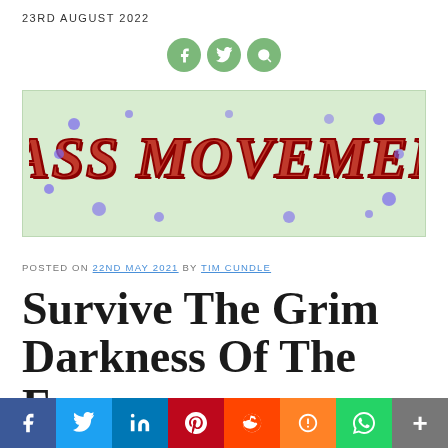23RD AUGUST 2022
[Figure (logo): Mass Movement logo with stylized horror-font red text on light green background with purple dot decorations]
POSTED ON 22ND MAY 2021 BY TIM CUNDLE
Survive The Grim Darkness Of The Far
[Figure (infographic): Social share bar with Facebook, Twitter, LinkedIn, Pinterest, Reddit, Mix, WhatsApp, and More buttons]